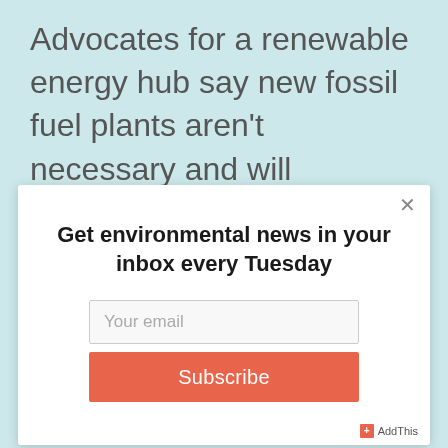Advocates for a renewable energy hub say new fossil fuel plants aren't necessary and will complicate the
Get environmental news in your inbox every Tuesday
Your email
Subscribe
+ AddThis